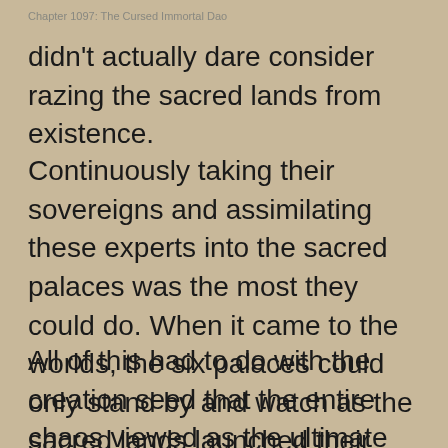Chapter 1097: The Cursed Immortal Dao
didn't actually dare consider razing the sacred lands from existence.
Continuously taking their sovereigns and assimilating these experts into the sacred palaces was the most they could do. When it came to the worlds, the six palaces could only stand by and watch as the sacred lands launched their offensives and set their schemes in motion.
All of this had to do with the creation seed that the entire chaos viewed as the ultimate treasure, and its eleventh was born today!